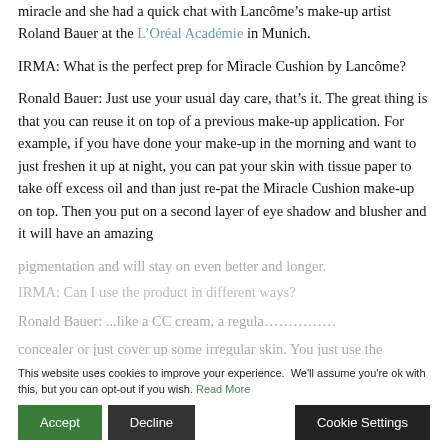miracle and she had a quick chat with Lancôme's make-up artist Roland Bauer at the L'Oréal Académie in Munich.
IRMA: What is the perfect prep for Miracle Cushion by Lancôme?
Ronald Bauer: Just use your usual day care, that's it. The great thing is that you can reuse it on top of a previous make-up application. For example, if you have done your make-up in the morning and want to just freshen it up at night, you can pat your skin with tissue paper to take off excess oil and than just re-pat the Miracle Cushion make-up on top. Then you put on a second layer of eye shadow and blusher and it will have an amazing
pigmentation and will stay on even better and longer.
IRMA: Can I use the product in different ways?
Ronald Bauer: ...like a CC cream, a regular... concealer or just cover up some irregular skin. You just use the
This website uses cookies to improve your experience. We'll assume you're ok with this, but you can opt-out if you wish. Read More
Accept | Decline | Cookie Settings